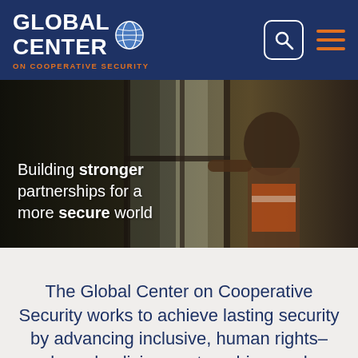GLOBAL CENTER ON COOPERATIVE SECURITY
[Figure (photo): A young child looking out a window, hero banner image with overlay text: Building stronger partnerships for a more secure world]
The Global Center on Cooperative Security works to achieve lasting security by advancing inclusive, human rights–based policies, partnerships, and practices to address the root causes of